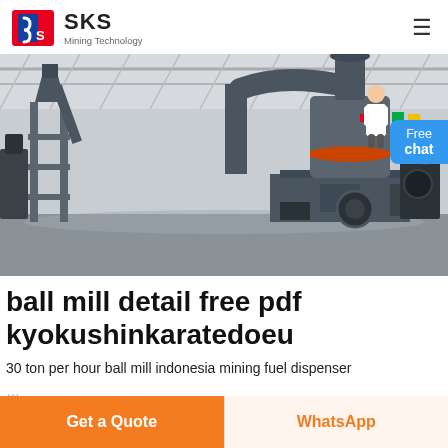SKS Mining Technology
[Figure (photo): Industrial ball mill / grinding mill machine inside a large factory warehouse. Large grey cylindrical grinding mill with orange ring in center, connected to metal framework and ductwork, on a polished concrete floor with colorful flags and equipment in background.]
ball mill detail free pdf kyokushinkaratedoeu
30 ton per hour ball mill indonesia mining fuel dispenser ...
Get a Quote
WhatsApp